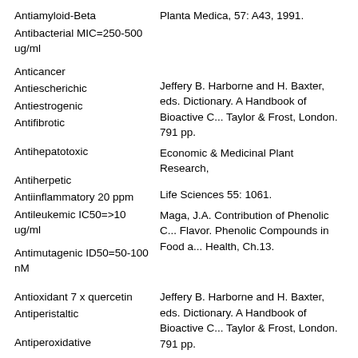Antiamyloid-Beta
Antibacterial MIC=250-500 ug/ml
Planta Medica, 57: A43, 1991.
Anticancer
Antiescherichic
Antiestrogenic
Antifibrotic
Antihepatotoxic
Jeffery B. Harborne and H. Baxter, eds. Dictionary. A Handbook of Bioactive Compounds. Taylor & Frost, London. 791 pp.
Antiherpetic
Economic & Medicinal Plant Research,
Antiinflammatory 20 ppm
Antileukemic IC50=>10 ug/ml
Life Sciences 55: 1061.
Antimutagenic ID50=50-100 nM
Maga, J.A. Contribution of Phenolic Compounds to Flavor. Phenolic Compounds in Food and Health, Ch.13.
Antioxidant 7 x quercetin
Antiperistaltic
Antiperoxidative
Jeffery B. Harborne and H. Baxter, eds. Dictionary. A Handbook of Bioactive Compounds. Taylor & Frost, London. 791 pp.